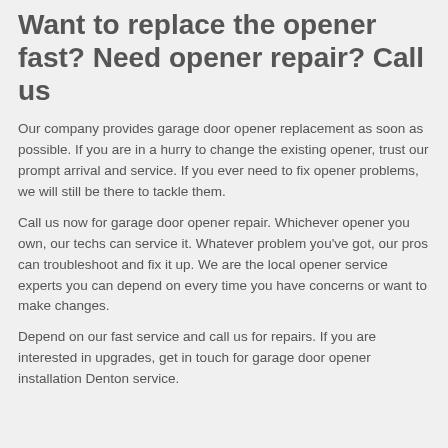Want to replace the opener fast? Need opener repair? Call us
Our company provides garage door opener replacement as soon as possible. If you are in a hurry to change the existing opener, trust our prompt arrival and service. If you ever need to fix opener problems, we will still be there to tackle them.
Call us now for garage door opener repair. Whichever opener you own, our techs can service it. Whatever problem you've got, our pros can troubleshoot and fix it up. We are the local opener service experts you can depend on every time you have concerns or want to make changes.
Depend on our fast service and call us for repairs. If you are interested in upgrades, get in touch for garage door opener installation Denton service.